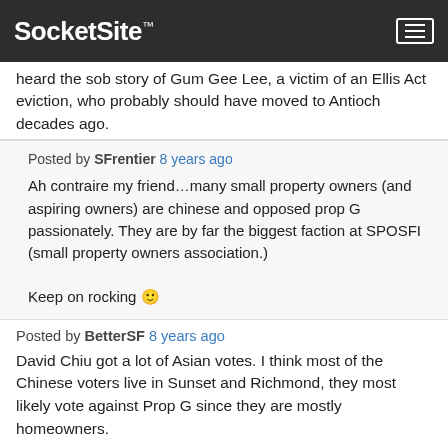SocketSite™
heard the sob story of Gum Gee Lee, a victim of an Ellis Act eviction, who probably should have moved to Antioch decades ago.
Posted by SFrentier 8 years ago

Ah contraire my friend…many small property owners (and aspiring owners) are chinese and opposed prop G passionately. They are by far the biggest faction at SPOSFI (small property owners association.)

Keep on rocking 🙂
Posted by BetterSF 8 years ago

David Chiu got a lot of Asian votes. I think most of the Chinese voters live in Sunset and Richmond, they most likely vote against Prop G since they are mostly homeowners.

Chinatown is mostly a business district. Very few people live in Chinatown. I heard that there are some public housing over there, it is possible that those low income residents in public housing may support Prop G and Campos.
Posted by Lugund 8 years ago